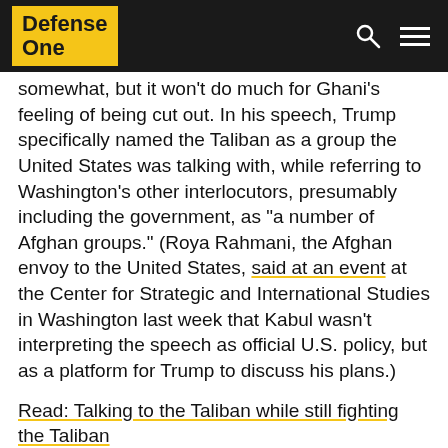Defense One
somewhat, but it won't do much for Ghani's feeling of being cut out. In his speech, Trump specifically named the Taliban as a group the United States was talking with, while referring to Washington's other interlocutors, presumably including the government, as "a number of Afghan groups." (Roya Rahmani, the Afghan envoy to the United States, said at an event at the Center for Strategic and International Studies in Washington last week that Kabul wasn't interpreting the speech as official U.S. policy, but as a platform for Trump to discuss his plans.)
Read: Talking to the Taliban while still fighting the Taliban
·······Story Continues Below Sponsor Message·······
[Figure (other): Black advertisement block]